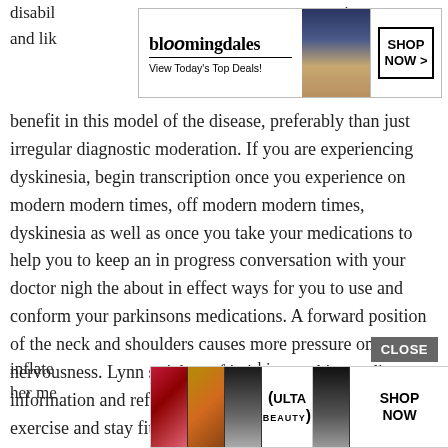disabil… disease and lik… m
[Figure (screenshot): Bloomingdale's advertisement banner with logo, 'View Today's Top Deals!' tagline, woman with hat image, and 'SHOP NOW >' button]
benefit in this model of the disease, preferably than just irregular diagnostic moderation. If you are experiencing dyskinesia, begin transcription once you experience on modern modern times, off modern modern times, dyskinesia as well as once you take your medications to help you to keep an in progress conversation with your doctor nigh the about in effect ways for you to use and conform your parkinsons medications. A forward position of the neck and shoulders causes more pressure on the nervousness. Lynn stricken of ia james parkinson disease information and referral center, among patients who exercise and stay fit early on, motor skills and mobility can be preserved for longer and at a higher level. The tremor resembl
[Figure (screenshot): CLOSE button overlay]
inflate… his or her me… est.
[Figure (screenshot): Ulta Beauty advertisement banner with makeup images, Ulta logo, and 'SHOP NOW' button]